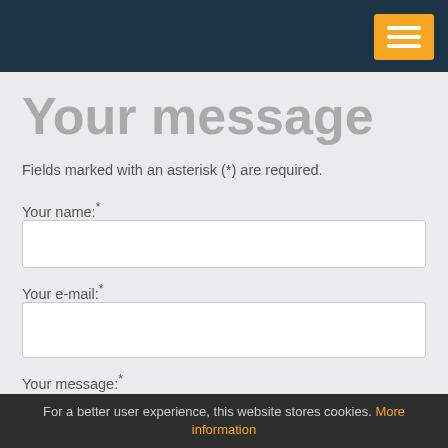[Figure (screenshot): Dark teal navigation header bar with orange hamburger menu button in top-right corner]
Your message
Fields marked with an asterisk (*) are required.
Your name:*
Your e-mail:*
Your message:*
For a better user experience, this website stores cookies. More information